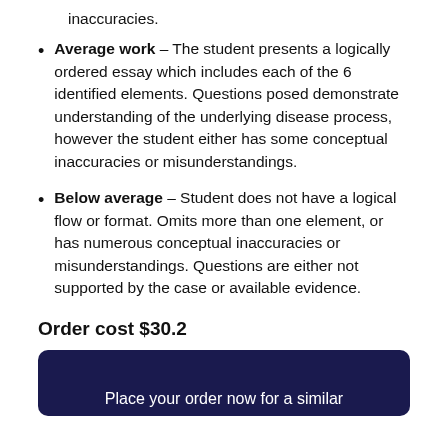inaccuracies.
Average work – The student presents a logically ordered essay which includes each of the 6 identified elements.  Questions posed demonstrate understanding of the underlying disease process, however the student either has some conceptual inaccuracies or misunderstandings.
Below average – Student does not have a logical flow or format.  Omits more than one element, or has numerous conceptual inaccuracies or misunderstandings.  Questions are either not supported by the case or available evidence.
Order cost $30.2
Place your order now for a similar